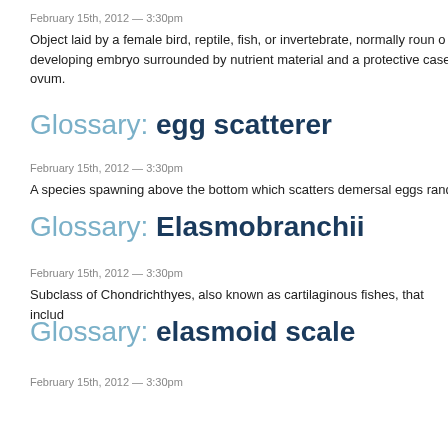February 15th, 2012 — 3:30pm
Object laid by a female bird, reptile, fish, or invertebrate, normally roun o developing embryo surrounded by nutrient material and a protective case ovum.
Glossary: egg scatterer
February 15th, 2012 — 3:30pm
A species spawning above the bottom which scatters demersal eggs rand
Glossary: Elasmobranchii
February 15th, 2012 — 3:30pm
Subclass of Chondrichthyes, also known as cartilaginous fishes, that includ
Glossary: elasmoid scale
February 15th, 2012 — 3:30pm